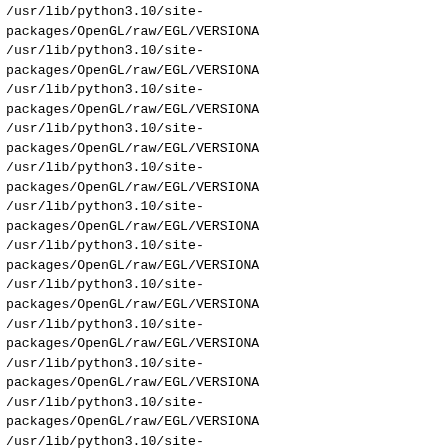/usr/lib/python3.10/site-packages/OpenGL/raw/EGL/VERSIONA
/usr/lib/python3.10/site-packages/OpenGL/raw/EGL/VERSIONA
/usr/lib/python3.10/site-packages/OpenGL/raw/EGL/VERSIONA
/usr/lib/python3.10/site-packages/OpenGL/raw/EGL/VERSIONA
/usr/lib/python3.10/site-packages/OpenGL/raw/EGL/VERSIONA
/usr/lib/python3.10/site-packages/OpenGL/raw/EGL/VERSIONA
/usr/lib/python3.10/site-packages/OpenGL/raw/EGL/VERSIONA
/usr/lib/python3.10/site-packages/OpenGL/raw/EGL/VERSIONA
/usr/lib/python3.10/site-packages/OpenGL/raw/EGL/VERSIONA
/usr/lib/python3.10/site-packages/OpenGL/raw/EGL/VERSIONA
/usr/lib/python3.10/site-packages/OpenGL/raw/EGL/VERSIONA
/usr/lib/python3.10/site-packages/OpenGL/raw/EGL/VERSIONA
/usr/lib/python3.10/site-packages/OpenGL/raw/EGL/VERSIONA
/usr/lib/python3.10/site-packages/OpenGL/raw/EGL/VERSIONA
/usr/lib/python3.10/site-packages/OpenGL/raw/EGL/VERSIONA
/usr/lib/python3.10/site-packages/OpenGL/raw/EGL/VERSIONA
/usr/lib/python3.10/site-packages/OpenGL/raw/EGL/VERSIONA
/usr/lib/python3.10/site-packages/OpenGL/raw/EGL/VERSIONA
/usr/lib/python3.10/site-packages/OpenGL/raw/EGL/VERSIONA
/usr/lib/python3.10/site-packages/OpenGL/raw/EGL/VERSIONA
/usr/lib/python3.10/site-packages/OpenGL/raw/EGL/VERSIONA
/usr/lib/python3.10/site-packages/OpenGL/raw/EGL/VERSIONA
/usr/lib/python3.10/site-packages/OpenGL/raw/EGL/__init_
/usr/lib/python3.10/site-packages/OpenGL/raw/EGL/__pycach
/usr/lib/python3.10/site-packages/OpenGL/raw/EGL/__pycach
/usr/lib/python3.10/site-packages/OpenGL/raw/EGL/__pycach
/usr/lib/python3.10/site-packages/OpenGL/raw/EGL/__pycach
/usr/lib/python3.10/site-packages/OpenGL/raw/EGL/__pycach
/usr/lib/python3.10/site-packages/OpenGL/raw/EGL/__pycach
/usr/lib/python3.10/site-packages/OpenGL/raw/EGL/__pycach